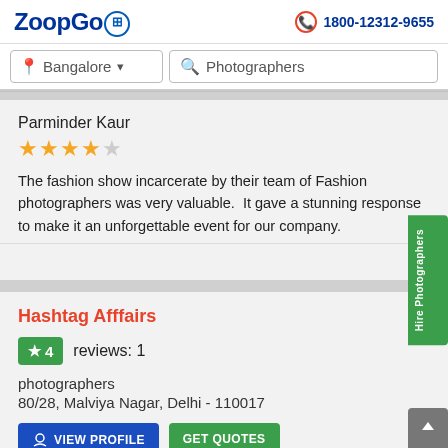ZoopGo | 1800-12312-9655
[Figure (screenshot): Search bar with location dropdown showing Bangalore and search field showing Photographers]
Parminder Kaur
[Figure (other): 4 out of 5 star rating displayed in orange/gold stars]
The fashion show incarcerate by their team of Fashion photographers was very valuable.  It gave a stunning response to make it an unforgettable event for our company.
Hashtag Afffairs
★ 4   reviews: 1
photographers
80/28, Malviya Nagar, Delhi - 110017
[Figure (other): VIEW PROFILE and GET QUOTES buttons]